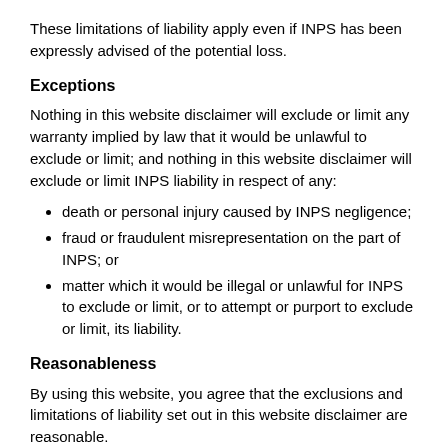These limitations of liability apply even if INPS has been expressly advised of the potential loss.
Exceptions
Nothing in this website disclaimer will exclude or limit any warranty implied by law that it would be unlawful to exclude or limit; and nothing in this website disclaimer will exclude or limit INPS liability in respect of any:
death or personal injury caused by INPS negligence;
fraud or fraudulent misrepresentation on the part of INPS; or
matter which it would be illegal or unlawful for INPS to exclude or limit, or to attempt or purport to exclude or limit, its liability.
Reasonableness
By using this website, you agree that the exclusions and limitations of liability set out in this website disclaimer are reasonable.
If you do not think they are reasonable, you must not use this